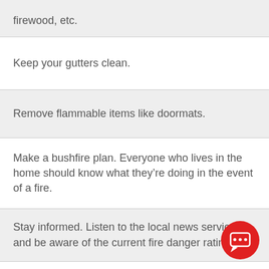firewood, etc.
Keep your gutters clean.
Remove flammable items like doormats.
Make a bushfire plan. Everyone who lives in the home should know what they're doing in the event of a fire.
Stay informed. Listen to the local news services and be aware of the current fire danger rating.
Drink plenty of water, to avoid dehydration.
[Figure (illustration): Red circular chat/speech bubble button with three dots icon in the bottom right corner]